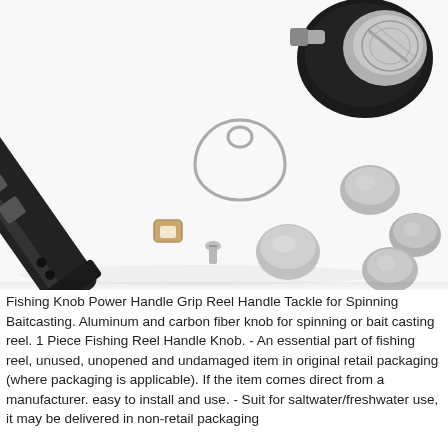[Figure (photo): Product photo showing a fishing reel handle/arm in black with a foam grip knob at top right, along with several disassembled metal components including nuts, caps, a teardrop-shaped bracket, a small screw, and a tan/beige plastic spacer, all laid out on a white background.]
Fishing Knob Power Handle Grip Reel Handle Tackle for Spinning Baitcasting. Aluminum and carbon fiber knob for spinning or bait casting reel. 1 Piece Fishing Reel Handle Knob. - An essential part of fishing reel, unused, unopened and undamaged item in original retail packaging (where packaging is applicable). If the item comes direct from a manufacturer. easy to install and use. - Suit for saltwater/freshwater use, it may be delivered in non-retail packaging